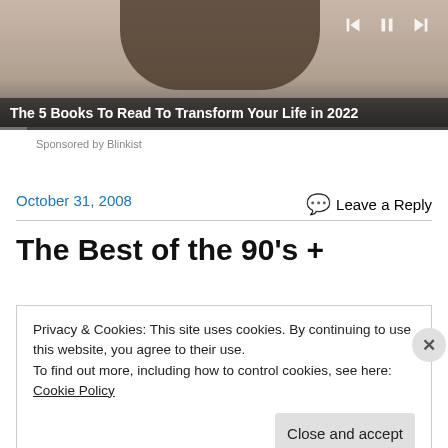[Figure (screenshot): Video thumbnail showing a person with a braid, with media player controls (previous, pause, next) in the top right and a progress bar at the bottom. A dark overlay shows the video title.]
The 5 Books To Read To Transform Your Life in 2022
Sponsored by Blinkist
October 31, 2008
Leave a Reply
The Best of the 90’s +
Privacy & Cookies: This site uses cookies. By continuing to use this website, you agree to their use.
To find out more, including how to control cookies, see here: Cookie Policy
Close and accept